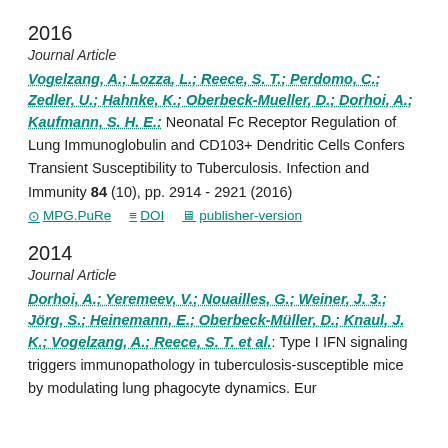2016
Journal Article
Vogelzang, A.; Lozza, L.; Reece, S. T.; Perdomo, C.; Zedler, U.; Hahnke, K.; Oberbeck-Mueller, D.; Dorhoi, A.; Kaufmann, S. H. E.: Neonatal Fc Receptor Regulation of Lung Immunoglobulin and CD103+ Dendritic Cells Confers Transient Susceptibility to Tuberculosis. Infection and Immunity 84 (10), pp. 2914 - 2921 (2016)
MPG.PuRe   DOI   publisher-version
2014
Journal Article
Dorhoi, A.; Yeremeev, V.; Nouailles, G.; Weiner, J. 3.; Jörg, S.; Heinemann, E.; Oberbeck-Müller, D.; Knaul, J. K.; Vogelzang, A.; Reece, S. T. et al.: Type I IFN signaling triggers immunopathology in tuberculosis-susceptible mice by modulating lung phagocyte dynamics. Eur...